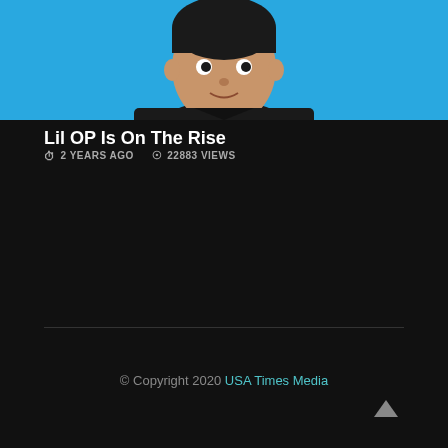[Figure (illustration): Illustrated/cartoon portrait of a person with short dark hair wearing a black t-shirt against a bright blue background, cropped at the shoulders]
Lil OP Is On The Rise
2 YEARS AGO   22883 VIEWS
© Copyright 2020 USA Times Media